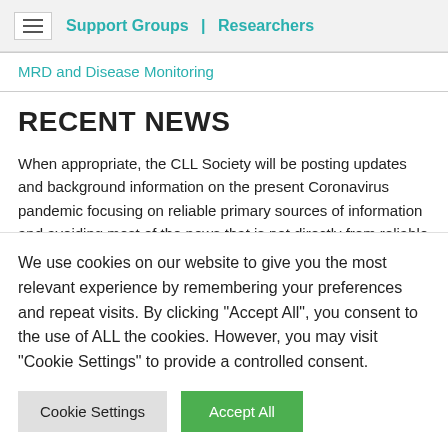Support Groups | Researchers
MRD and Disease Monitoring
RECENT NEWS
When appropriate, the CLL Society will be posting updates and background information on the present Coronavirus pandemic focusing on reliable primary sources of information and avoiding most of the news that is not directly from reliable
We use cookies on our website to give you the most relevant experience by remembering your preferences and repeat visits. By clicking "Accept All", you consent to the use of ALL the cookies. However, you may visit "Cookie Settings" to provide a controlled consent.